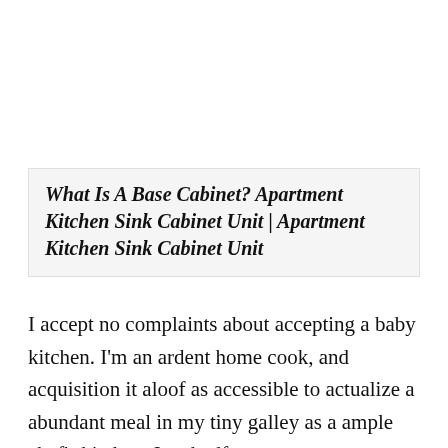What Is A Base Cabinet? Apartment Kitchen Sink Cabinet Unit | Apartment Kitchen Sink Cabinet Unit
I accept no complaints about accepting a baby kitchen. I'm an ardent home cook, and acquisition it aloof as accessible to actualize a abundant meal in my tiny galley as a ample chef's kitchen. In a bedfast space, aggregate you charge is appropriate at hand, and several years alive as a chef for...